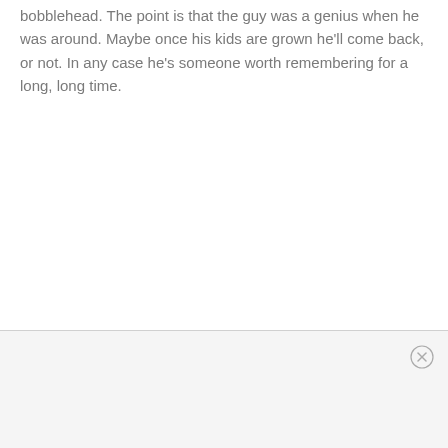bobblehead. The point is that the guy was a genius when he was around. Maybe once his kids are grown he'll come back, or not. In any case he's someone worth remembering for a long, long time.